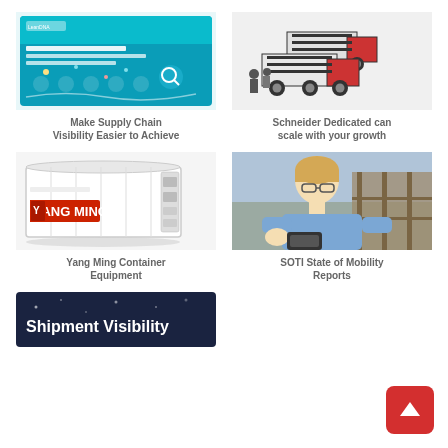[Figure (illustration): Blue/teal cover of a document titled 'The Promise of Seeing Clearly' with supply chain visibility theme, icons and graphics]
Make Supply Chain Visibility Easier to Achieve
[Figure (illustration): Isometric illustration of red and white semi-trucks with trailers on a light gray background, two people standing nearby]
Schneider Dedicated can scale with your growth
[Figure (photo): White Yang Ming refrigerated shipping container unit with red logo and control panels]
Yang Ming Container Equipment
[Figure (photo): Woman with blonde hair in blue shirt scanning a barcode or using a handheld device in a warehouse environment]
SOTI State of Mobility Reports
[Figure (illustration): Dark navy background card with text 'Shipment Visibility' in white bold letters, partial view at bottom]
[Figure (other): Red rounded square button with white upward arrow icon for scroll to top]